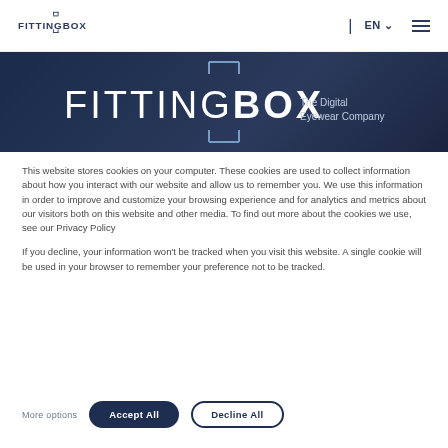FITTINGBOX | EN [dropdown] [hamburger menu]
[Figure (logo): FittingBox The Digital Eyewear Company logo on dark navy blue banner background]
This website stores cookies on your computer. These cookies are used to collect information about how you interact with our website and allow us to remember you. We use this information in order to improve and customize your browsing experience and for analytics and metrics about our visitors both on this website and other media. To find out more about the cookies we use, see our Privacy Policy
If you decline, your information won't be tracked when you visit this website. A single cookie will be used in your browser to remember your preference not to be tracked.
More options  Accept All  Decline All